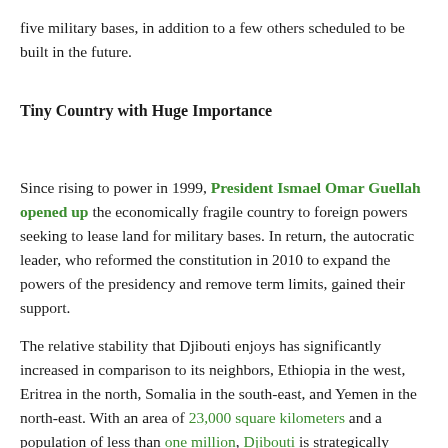five military bases, in addition to a few others scheduled to be built in the future.
Tiny Country with Huge Importance
Since rising to power in 1999, President Ismael Omar Guellah opened up the economically fragile country to foreign powers seeking to lease land for military bases. In return, the autocratic leader, who reformed the constitution in 2010 to expand the powers of the presidency and remove term limits, gained their support.
The relative stability that Djibouti enjoys has significantly increased in comparison to its neighbors, Ethiopia in the west, Eritrea in the north, Somalia in the south-east, and Yemen in the north-east. With an area of 23,000 square kilometers and a population of less than one million, Djibouti is strategically located on the Bab